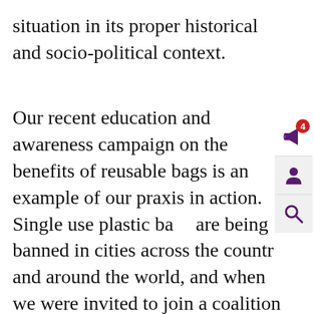situation in its proper historical and socio-political context.

Our recent education and awareness campaign on the benefits of reusable bags is an example of our praxis in action. Single use plastic bags are being banned in cities across the country and around the world, and when we were invited to join a coalition of environmental non-profits and community groups taking action on this issue here in Philadelphia, we welcomed the opportunity. Our unique blend of art, activism and community advocacy was an integral part of the process that led to legislation to ban plastic bags here in Philadelphia. Due to the COVID-19 pandemic,